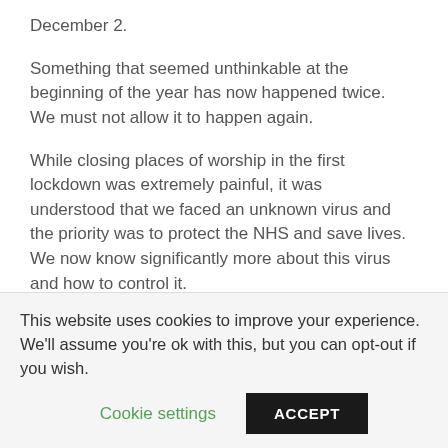December 2.
Something that seemed unthinkable at the beginning of the year has now happened twice. We must not allow it to happen again.
While closing places of worship in the first lockdown was extremely painful, it was understood that we faced an unknown virus and the priority was to protect the NHS and save lives. We now know significantly more about this virus and how to control it.
If you've been into any church since the summer, you will have probably encountered an army of masked cleaners with disinfectant spray, one-way systems, and people
This website uses cookies to improve your experience. We'll assume you're ok with this, but you can opt-out if you wish.
Cookie settings
ACCEPT